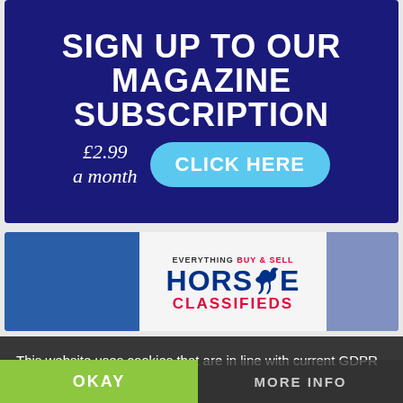[Figure (infographic): Dark navy blue advertisement banner for a magazine subscription. Large white bold uppercase text reads 'SIGN UP TO OUR MAGAZINE SUBSCRIPTION'. Below, cursive white text shows '£2.99 a month' and a light blue rounded button with white text 'CLICK HERE'.]
[Figure (infographic): Horse classifieds advertisement banner. Left and right sections are blue. Centre white panel shows logo: 'EVERYTHING BUY & SELL' in small text above 'HORSE' in large dark blue bold letters with a horse silhouette, and 'CLASSIFIEDS' in red below.]
This website uses cookies that are in line with current GDPR requirements
OKAY
MORE INFO